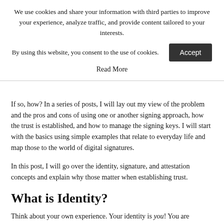We use cookies and share your information with third parties to improve your experience, analyze traffic, and provide content tailored to your interests.
By using this website, you consent to the use of cookies.
Read More
If so, how? In a series of posts, I will lay out my view of the problem and the pros and cons of using one or another signing approach, how the trust is established, and how to manage the signing keys. I will start with the basics using simple examples that relate to everyday life and map those to the world of digital signatures.
In this post, I will go over the identity, signature, and attestation concepts and explain why those matter when establishing trust.
What is Identity?
Think about your own experience. Your identity is you! You are identified by your gender, skin color, facial and body characteristics, thumbprint, iris print, hair color, DNA etc. Unless